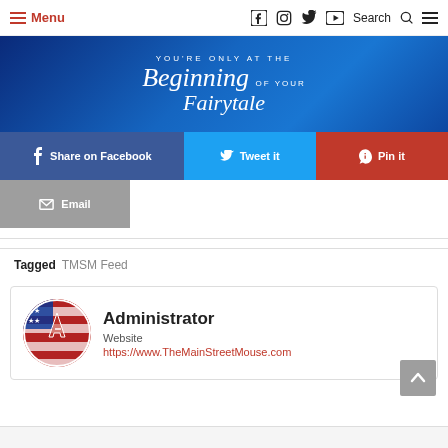Menu | Facebook | Instagram | Twitter | YouTube | Search
[Figure (illustration): Blue banner with cursive text reading "You're Only At The Beginning of your Fairytale" with a Cinderella glass slipper silhouette]
Share on Facebook | Tweet it | Pin it
Email
Tagged  TMSM Feed
Administrator
Website
https://www.TheMainStreetMouse.com